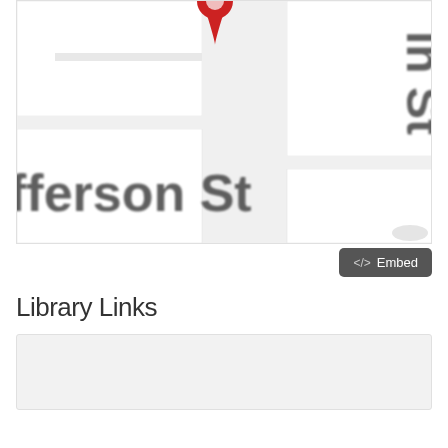[Figure (map): A Google Maps screenshot showing a map with a red location pin marker. Visible street labels include 'Jefferson St' horizontally and 'Main St' rotated vertically. The map shows city blocks in light gray and white.]
<> Embed
Library Links